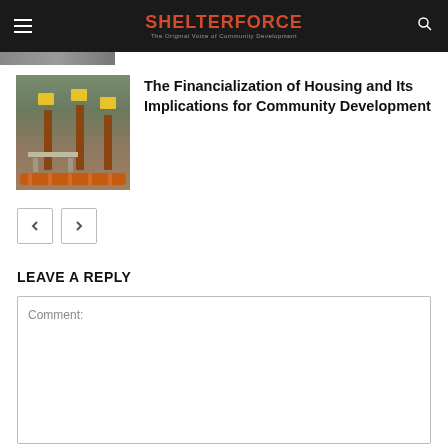SHELTERFORCE — The Original Voice of Community Development
[Figure (photo): Partial photo strip visible at top of page]
[Figure (photo): Outdoor construction or urban scene with vertical poles, yellow boxes, a concrete bench, and orange coils on the ground]
The Financialization of Housing and Its Implications for Community Development
< >
LEAVE A REPLY
Comment: